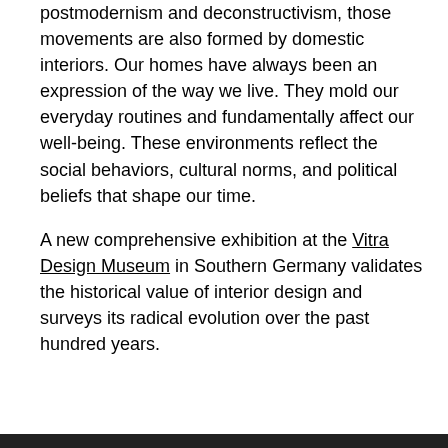postmodernism and deconstructivism, those movements are also formed by domestic interiors. Our homes have always been an expression of the way we live. They mold our everyday routines and fundamentally affect our well-being. These environments reflect the social behaviors, cultural norms, and political beliefs that shape our time.
A new comprehensive exhibition at the Vitra Design Museum in Southern Germany validates the historical value of interior design and surveys its radical evolution over the past hundred years.